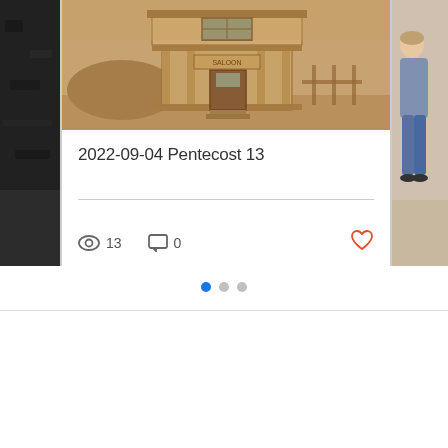[Figure (photo): Left partial card showing dark gravel/asphalt texture photo]
[Figure (photo): Center card with sepia-toned photo of a western-style saloon building with porch and columns in a desert setting]
2022-09-04 Pentecost 13
[Figure (photo): Right partial card showing a person standing indoors, partial view]
👁 13   💬 0   ♡